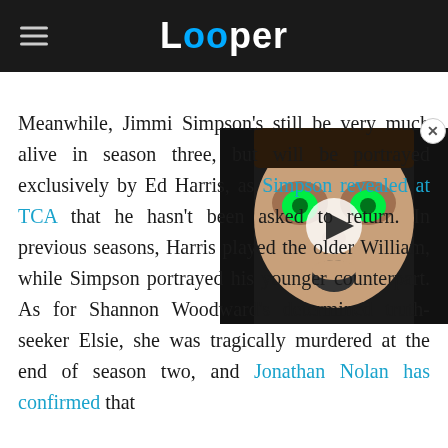Looper
[Figure (photo): A close-up photo of a man with glowing green eyes and an open mouth expression, with a video play button overlay in the center of the image.]
Meanwhile, Jimmi Simpson's [character] will still be very much alive in season three, but will be portrayed exclusively by Ed Harris, as Simpson revealed at TCA that he hasn't been asked to return. In previous seasons, Harris played the older William, while Simpson portrayed his younger counterpart. As for Shannon Woodward's determined truth-seeker Elsie, she was tragically murdered at the end of season two, and Jonathan Nolan has confirmed that